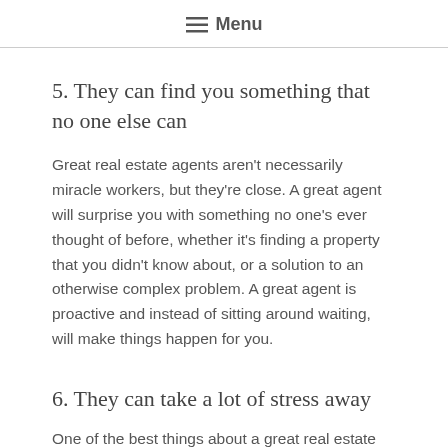≡ Menu
5. They can find you something that no one else can
Great real estate agents aren't necessarily miracle workers, but they're close. A great agent will surprise you with something no one's ever thought of before, whether it's finding a property that you didn't know about, or a solution to an otherwise complex problem. A great agent is proactive and instead of sitting around waiting, will make things happen for you.
6. They can take a lot of stress away
One of the best things about a great real estate agent is